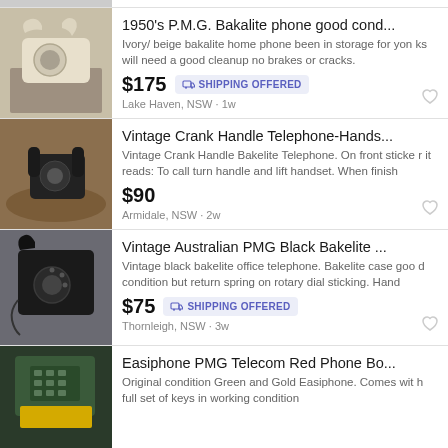1950's P.M.G. Bakalite phone good cond...
Ivory/ beige bakalite home phone been in storage for yonks will need a good cleanup no brakes or cracks.
$175 SHIPPING OFFERED
Lake Haven, NSW · 1w
Vintage Crank Handle Telephone-Hands...
Vintage Crank Handle Bakelite Telephone. On front sticker it reads: To call turn handle and lift handset. When finish
$90
Armidale, NSW · 2w
Vintage Australian PMG Black Bakelite ...
Vintage black bakelite office telephone. Bakelite case good condition but return spring on rotary dial sticking. Hand
$75 SHIPPING OFFERED
Thornleigh, NSW · 3w
Easiphone PMG Telecom Red Phone Bo...
Original condition Green and Gold Easiphone. Comes with full set of keys in working condition